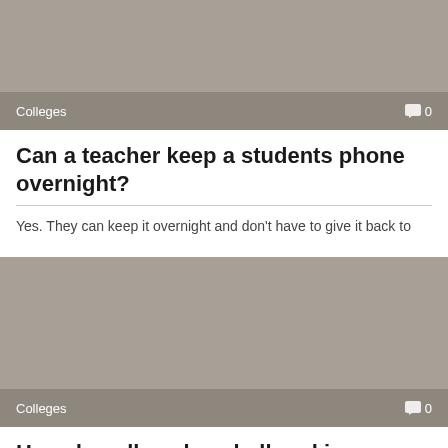[Figure (photo): Gray placeholder image for article about teacher keeping students phone overnight, with Colleges category label and comment count 0]
Can a teacher keep a students phone overnight?
Yes. They can keep it overnight and don't have to give it back to
[Figure (photo): Gray placeholder image for article about college baseball rankings, with Colleges category label and comment count 0]
How do college baseball rankings work?